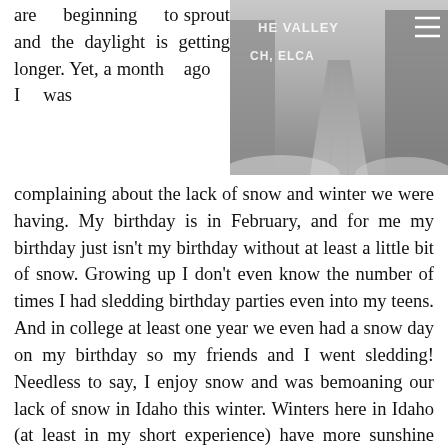are beginning to sprout and the daylight is getting longer. Yet, a month ago I was
[Figure (photo): Winter snowy road scene with text overlay reading 'THE VALLEY CH, ELCA' and a hamburger menu icon in the top right corner]
complaining about the lack of snow and winter we were having. My birthday is in February, and for me my birthday just isn't my birthday without at least a little bit of snow. Growing up I don't even know the number of times I had sledding birthday parties even into my teens. And in college at least one year we even had a snow day on my birthday so my friends and I went sledding! Needless to say, I enjoy snow and was bemoaning our lack of snow in Idaho this winter. Winters here in Idaho (at least in my short experience) have more sunshine than winters in the Midwest or the Northeast, and even still this winter was feeling gloomy